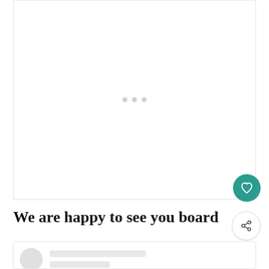[Figure (other): Large white content loading area with three gray dots in the center indicating a loading state]
We are happy to see you board
[Figure (screenshot): Bottom card showing a user profile placeholder with avatar circle and two gray text placeholder lines, with a 'What's Next' overlay banner showing a book thumbnail for 'Greater Gator Math Virtual...']